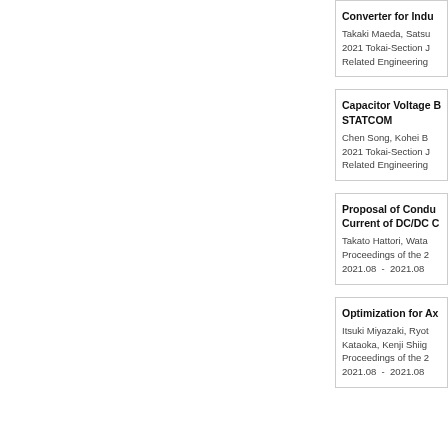Converter for Indu... Takaki Maeda, Satsu... 2021 Tokai-Section J... Related Engineering...
Capacitor Voltage B... STATCOM Chen Song, Kohei B... 2021 Tokai-Section J... Related Engineering...
Proposal of Condu... Current of DC/DC C... Takato Hattori, Wata... Proceedings of the 2... 2021.08 - 2021.08
Optimization for Ax... Itsuki Miyazaki, Ryot... Kataoka, Kenji Shiig... Proceedings of the 2... 2021.08 - 2021.08